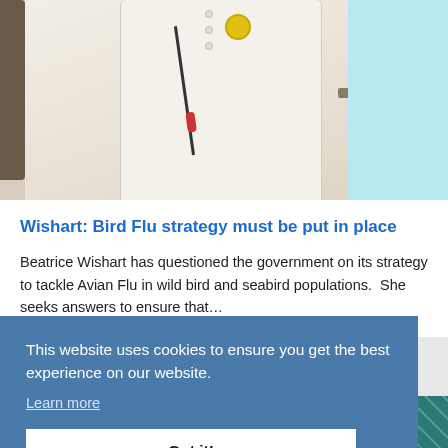[Figure (photo): Woman in white jacket with yellow flower brooch standing at a podium with a microphone, in what appears to be a parliamentary or council chamber setting]
Wishart: Bird Flu strategy must be put in place
Beatrice Wishart has questioned the government on its strategy to tackle Avian Flu in wild bird and seabird populations.  She seeks answers to ensure that…
This website uses cookies to ensure you get the best experience on our website.
Learn more
Got it!
[Figure (photo): Bottom strip showing partial image with teal/green patterned background and a red object]